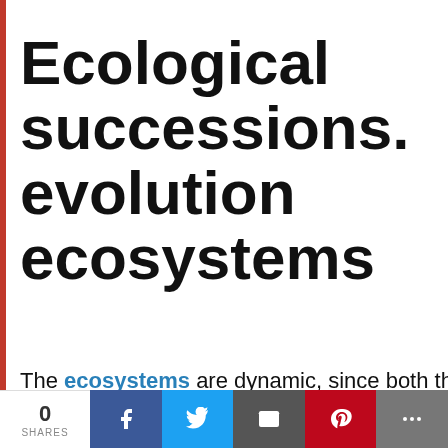Ecological successions. evolution ecosystems
The ecosystems are dynamic, since both the co...